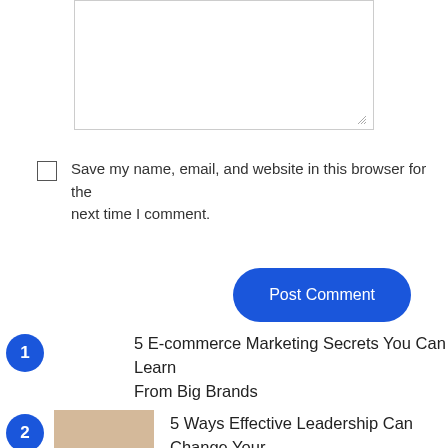[Figure (other): Textarea input box with resize handle at bottom right]
Save my name, email, and website in this browser for the next time I comment.
Post Comment
5 E-commerce Marketing Secrets You Can Learn From Big Brands
5 Ways Effective Leadership Can Change Your Business